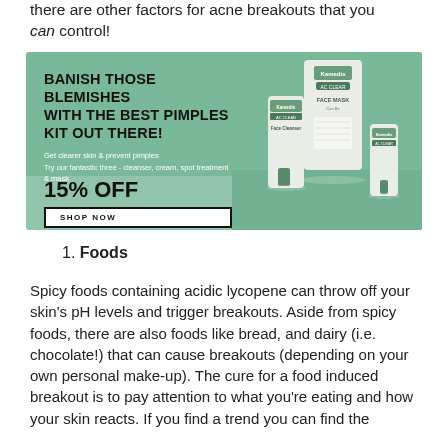there are other factors for acne breakouts that you can control!
[Figure (infographic): Green advertisement banner for Kamedis acne skincare products. Bold text: BANISH THOSE BLEMISHES WITH THE BEST PIMPLES KIT OUT THERE! Subtext: Get clearer skin & prevent pimples / Try our fantastic three - cleanser, cream, spot treatment & mask. 15% OFF discount offer. SHOP NOW button. Product images on the right side.]
1. Foods
Spicy foods containing acidic lycopene can throw off your skin's pH levels and trigger breakouts. Aside from spicy foods, there are also foods like bread, and dairy (i.e. chocolate!) that can cause breakouts (depending on your own personal make-up). The cure for a food induced breakout is to pay attention to what you're eating and how your skin reacts. If you find a trend you can find the